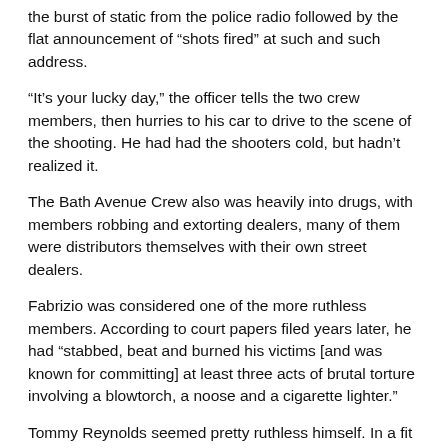the burst of static from the police radio followed by the flat announcement of "shots fired" at such and such address.
"It's your lucky day," the officer tells the two crew members, then hurries to his car to drive to the scene of the shooting. He had had the shooters cold, but hadn't realized it.
The Bath Avenue Crew also was heavily into drugs, with members robbing and extorting dealers, many of them were distributors themselves with their own street dealers.
Fabrizio was considered one of the more ruthless members. According to court papers filed years later, he had "stabbed, beat and burned his victims [and was known for committing] at least three acts of brutal torture involving a blowtorch, a noose and a cigarette lighter."
Tommy Reynolds seemed pretty ruthless himself. In a fit of rage he poked someone through the eye with a fork.